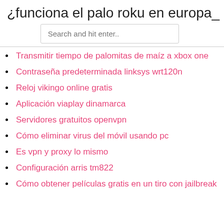¿funciona el palo roku en europa_
Search and hit enter..
Transmitir tiempo de palomitas de maíz a xbox one
Contraseña predeterminada linksys wrt120n
Reloj vikingo online gratis
Aplicación viaplay dinamarca
Servidores gratuitos openvpn
Cómo eliminar virus del móvil usando pc
Es vpn y proxy lo mismo
Configuración arris tm822
Cómo obtener películas gratis en un tiro con jailbreak